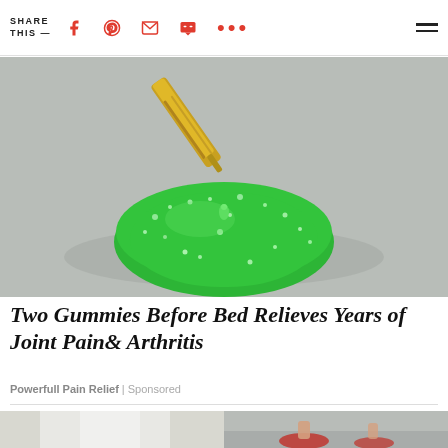SHARE THIS —
[Figure (photo): Close-up photo of a green sugar-coated gummy candy with golden oil being dripped onto it from a dropper, on a light gray background.]
Two Gummies Before Bed Relieves Years of Joint Pain& Arthritis
Powerfull Pain Relief | Sponsored
[Figure (photo): Partial bottom image showing a person in white pants and red shoes, cropped at the bottom of the page.]